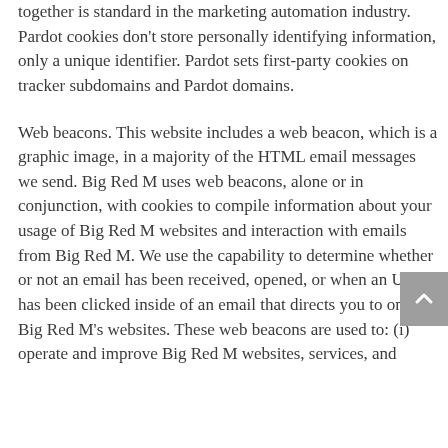together is standard in the marketing automation industry. Pardot cookies don't store personally identifying information, only a unique identifier. Pardot sets first-party cookies on tracker subdomains and Pardot domains.
Web beacons. This website includes a web beacon, which is a graphic image, in a majority of the HTML email messages we send. Big Red M uses web beacons, alone or in conjunction, with cookies to compile information about your usage of Big Red M websites and interaction with emails from Big Red M. We use the capability to determine whether or not an email has been received, opened, or when an URL has been clicked inside of an email that directs you to one of Big Red M's websites. These web beacons are used to: (i) operate and improve Big Red M websites, services, and